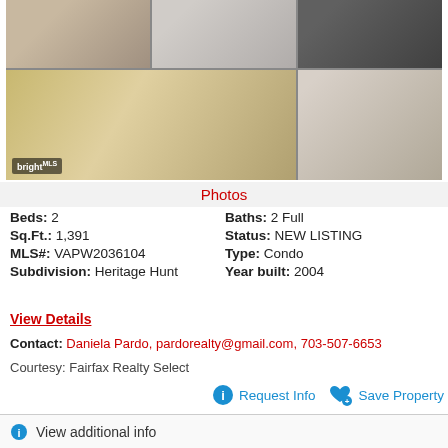[Figure (photo): Grid of property interior photos showing porch, garage/living area, and kitchen]
Photos
Beds: 2   Baths: 2 Full
Sq.Ft.: 1,391   Status: NEW LISTING
MLS#: VAPW2036104   Type: Condo
Subdivision: Heritage Hunt   Year built: 2004
View Details
Contact: Daniela Pardo, pardorealty@gmail.com, 703-507-6653
Courtesy: Fairfax Realty Select
Request Info   Save Property
View additional info